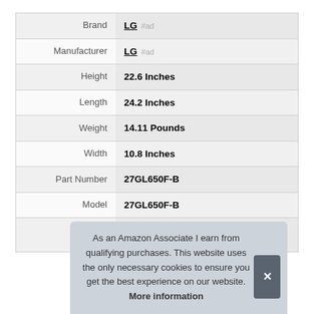| Attribute | Value |
| --- | --- |
| Brand | LG #ad |
| Manufacturer | LG #ad |
| Height | 22.6 Inches |
| Length | 24.2 Inches |
| Weight | 14.11 Pounds |
| Width | 10.8 Inches |
| Part Number | 27GL650F-B |
| Model | 27GL650F-B |
As an Amazon Associate I earn from qualifying purchases. This website uses the only necessary cookies to ensure you get the best experience on our website. More information